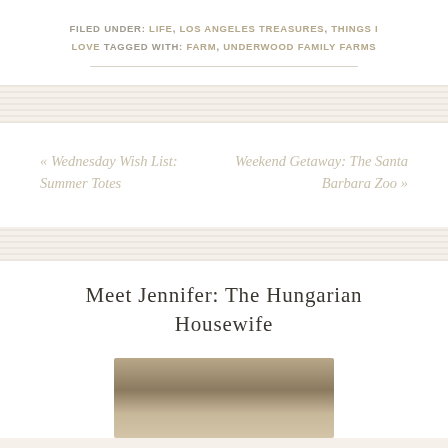FILED UNDER: LIFE, LOS ANGELES TREASURES, THINGS I LOVE TAGGED WITH: FARM, UNDERWOOD FAMILY FARMS
« Wednesday Wish List: Summer Totes
Weekend Getaway: The Santa Barbara Zoo »
Meet Jennifer: The Hungarian Housewife
[Figure (photo): Photo of Jennifer, the Hungarian Housewife, partially visible at bottom of page]